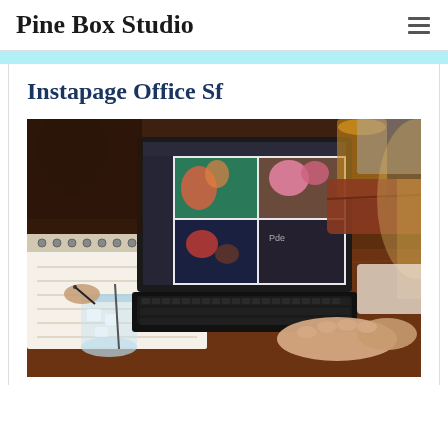Pine Box Studio
Instapage Office Sf
[Figure (photo): Person typing on a black laptop at a wooden table, with a glass of water with ice, a spiral notebook, and another person writing in the background. The laptop screen shows a photo editing or design application with floral images. A leather wallet and drink are visible in the upper right.]